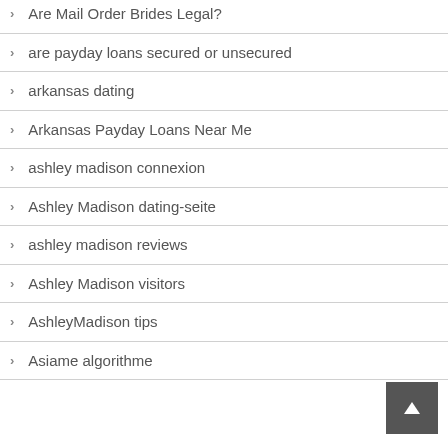Are Mail Order Brides Legal?
are payday loans secured or unsecured
arkansas dating
Arkansas Payday Loans Near Me
ashley madison connexion
Ashley Madison dating-seite
ashley madison reviews
Ashley Madison visitors
AshleyMadison tips
Asiame algorithme